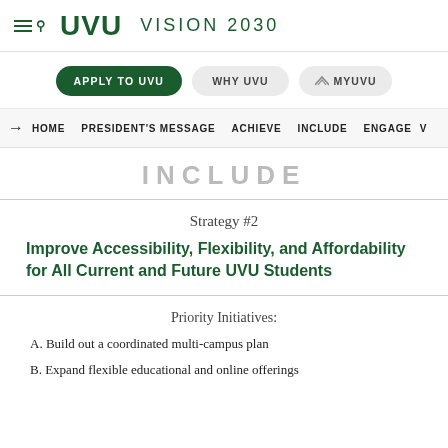UVU VISION 2030
APPLY TO UVU | WHY UVU | MYUVU
HOME | PRESIDENT'S MESSAGE | ACHIEVE | INCLUDE | ENGAGE | V
INCLUDE
Strategy #2
Improve Accessibility, Flexibility, and Affordability for All Current and Future UVU Students
Priority Initiatives:
A. Build out a coordinated multi-campus plan
B. Expand flexible educational and online offerings